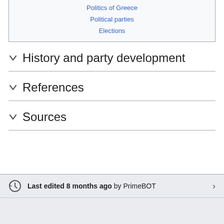| Politics of Greece |
| Political parties |
| Elections |
History and party development
References
Sources
Last edited 8 months ago by PrimeBOT